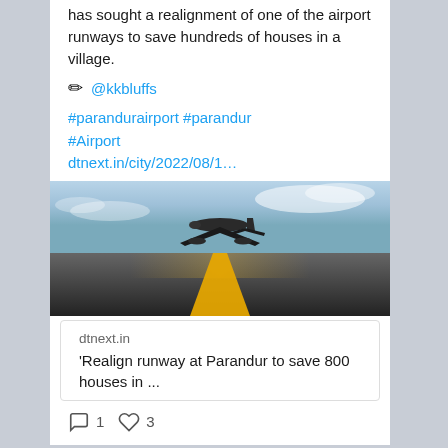has sought a realignment of one of the airport runways to save hundreds of houses in a village.
✏ @kkbluffs
#parandurairport #parandur #Airport dtnext.in/city/2022/08/1…
[Figure (photo): Airplane taking off from a runway viewed from ground level, with dramatic sky and yellow center line stripe on the runway.]
dtnext.in
'Realign runway at Parandur to save 800 houses in ...
1  3